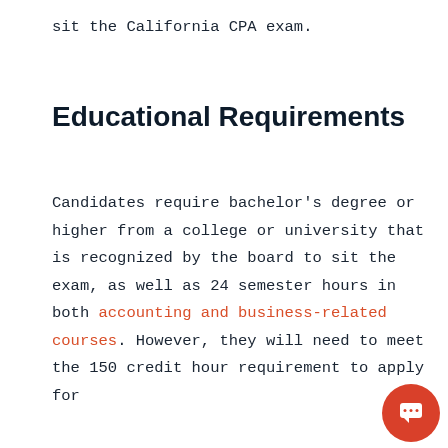sit the California CPA exam.
Educational Requirements
Candidates require bachelor's degree or higher from a college or university that is recognized by the board to sit the exam, as well as 24 semester hours in both accounting and business-related courses. However, they will need to meet the 150 credit hour requirement to apply for